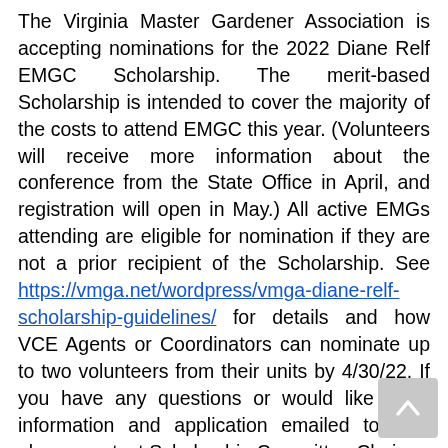The Virginia Master Gardener Association is accepting nominations for the 2022 Diane Relf EMGC Scholarship. The merit-based Scholarship is intended to cover the majority of the costs to attend EMGC this year. (Volunteers will receive more information about the conference from the State Office in April, and registration will open in May.) All active EMGs attending are eligible for nomination if they are not a prior recipient of the Scholarship. See https://vmga.net/wordpress/vmga-diane-relf-scholarship-guidelines/ for details and how VCE Agents or Coordinators can nominate up to two volunteers from their units by 4/30/22. If you have any questions or would like more information and application emailed to you, please contact Scholarship Committee Chair